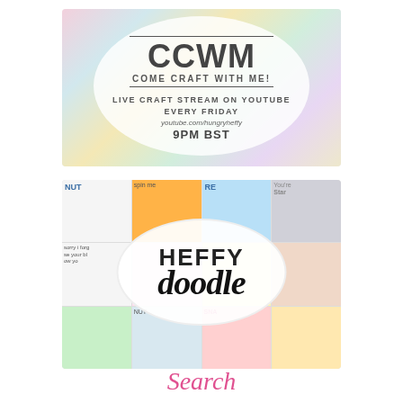[Figure (illustration): CCWM Come Craft With Me promotional banner. Shows crafting supplies background with a white oval overlay containing the text: CCWM, COME CRAFT WITH ME!, LIVE CRAFT STREAM ON YOUTUBE EVERY FRIDAY, youtube.com/hungryheffy, 9PM BST]
[Figure (logo): Heffy Doodle brand logo banner. A collage of colorful craft cards in a grid with a white oval overlay in the center containing 'HEFFY' in bold uppercase and 'doodle' in large italic script.]
Search